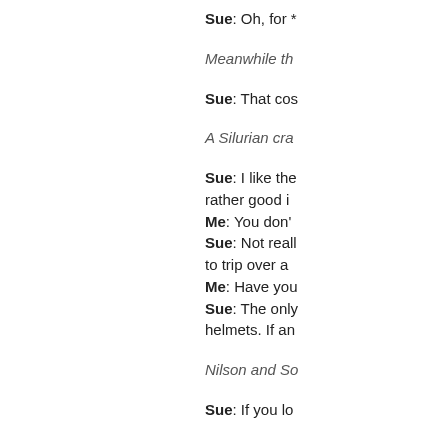Sue: Oh, for *
Meanwhile th
Sue: That cos
A Silurian cra
Sue: I like the rather good i
Me: You don'
Sue: Not reall to trip over a
Me: Have you
Sue: The only helmets. If an
Nilson and So
Sue: If you lo